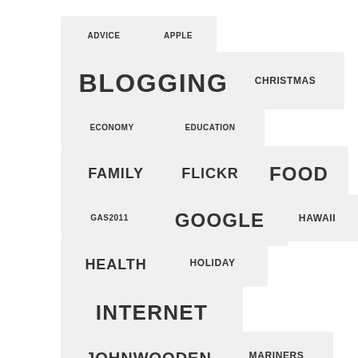[Figure (infographic): Tag cloud showing various topic tags in different font sizes indicating relative frequency/importance. Tags include: ADVICE, APPLE, BLOGGING, CHRISTMAS, ECONOMY, EDUCATION, FAMILY, FLICKR, FOOD, GAS2011, GOOGLE, HAWAII, HEALTH, HOLIDAY, INTERNET, JOHNWOODEN, MARINERS, MATTMCGEE, MOVIES, MUSIC]